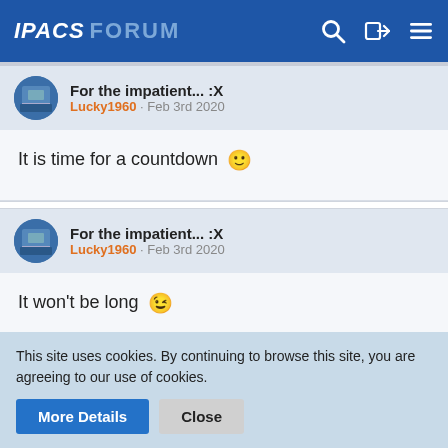IPACS FORUM
For the impatient... :X — Lucky1960 · Feb 3rd 2020
It is time for a countdown 🙂
For the impatient... :X — Lucky1960 · Feb 3rd 2020
It won't be long 😉
This site uses cookies. By continuing to browse this site, you are agreeing to our use of cookies.